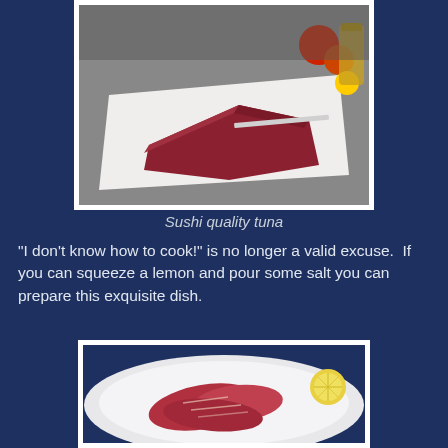[Figure (photo): A block of sushi quality tuna resting on white butcher paper on a kitchen counter, with tomatoes and condiment jars in the background.]
Sushi quality tuna
"I don't know how to cook!" is no longer a valid excuse.  If you can squeeze a lemon and pour some salt you can prepare this exquisite dish.
[Figure (photo): Sliced pieces of raw tuna fish arranged on a white plate, with a lemon slice visible on the side.]